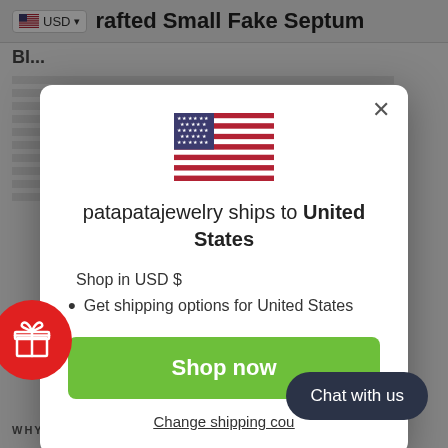USD  rafted Small Fake Septum
[Figure (screenshot): Modal dialog with US flag, shipping information for United States, Shop in USD $, Get shipping options for United States, Shop now button, and Change shipping country link]
patapatajewelry ships to United States
Shop in USD $
Get shipping options for United States
Shop now
Change shipping cou...
Chat with us
WHY IT'S AWESOME